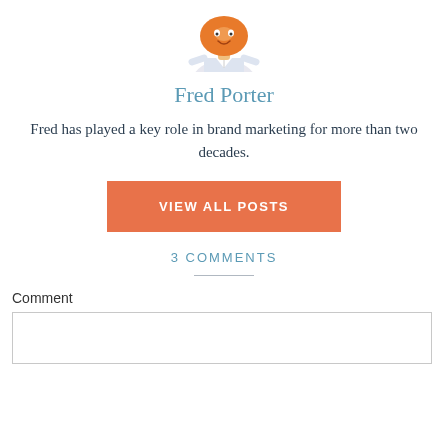[Figure (illustration): Cartoon avatar of Fred Porter — a person with an orange/donut-shaped head wearing a white shirt, shown from the waist up]
Fred Porter
Fred has played a key role in brand marketing for more than two decades.
VIEW ALL POSTS
3 COMMENTS
Comment